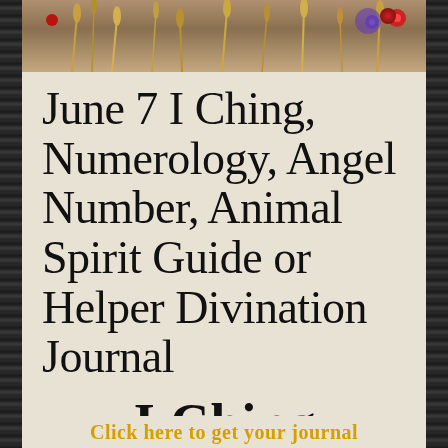[Figure (photo): Decorative top banner image with wheat stalks, dried flowers, red and purple floral accents on a warm brown/tan background suggesting a rustic, spiritual aesthetic.]
June 7 I Ching, Numerology, Angel Number, Animal Spirit Guide or Helper Divination Journal
I Ching
Click here to get your journal